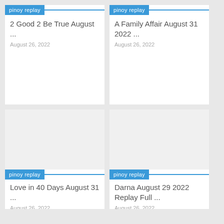[Figure (screenshot): Pinoy replay website card grid showing 4 TV show replay listings]
pinoy replay
2 Good 2 Be True August ...
August 26, 2022
pinoy replay
A Family Affair August 31 2022 ...
August 26, 2022
pinoy replay
Love in 40 Days August 31 ...
August 26, 2022
pinoy replay
Darna August 29 2022 Replay Full ...
August 26, 2022